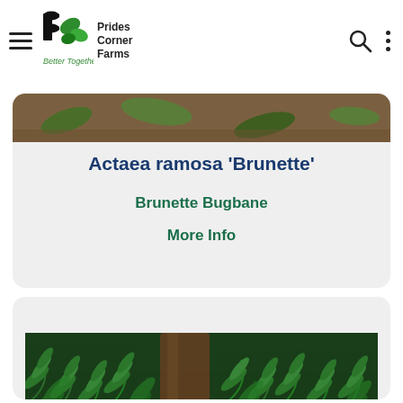Prides Corner Farms — Better Together
[Figure (photo): Partial view of Actaea ramosa Brunette plant photo at top of card]
Actaea ramosa 'Brunette'
Brunette Bugbane
More Info
[Figure (photo): Photo of fern foliage (green maidenhair or similar fern) with tree trunk in background]